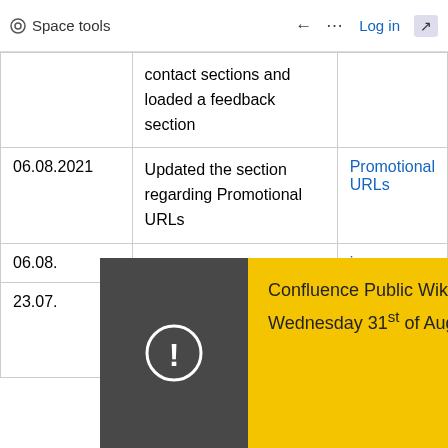Space tools   ←   ...   Log in   ⤢
| Date | Description | Link |
| --- | --- | --- |
|  | contact sections and loaded a feedback section |  |
| 06.08.2021 | Updated the section regarding Promotional URLs | Promotional URLs |
| 06.08. | [obscured by modal] | icons |
| 23.07. | [obscured by modal] are due to be removed |  |
Confluence Public Wikis will be under maintenance on Wednesday 31st of August 2022, from 10am to 11am.